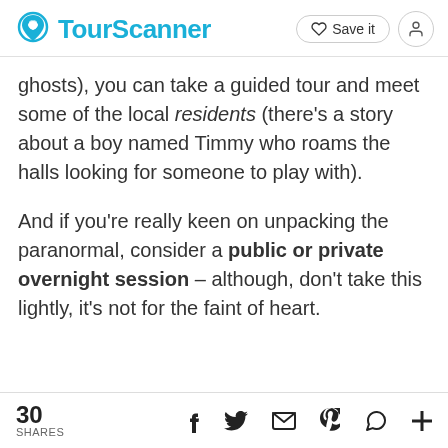TourScanner | Save it
ghosts), you can take a guided tour and meet some of the local residents (there’s a story about a boy named Timmy who roams the halls looking for someone to play with).
And if you’re really keen on unpacking the paranormal, consider a public or private overnight session – although, don’t take this lightly, it’s not for the faint of heart.
30 SHARES